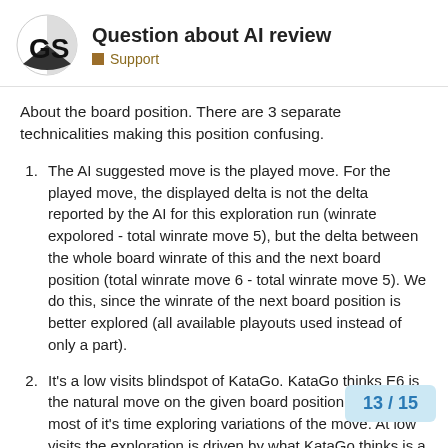Question about AI review — Support
About the board position. There are 3 separate technicalities making this position confusing.
The AI suggested move is the played move. For the played move, the displayed delta is not the delta reported by the AI for this exploration run (winrate expolored - total winrate move 5), but the delta between the whole board winrate of this and the next board position (total winrate move 6 - total winrate move 5). We do this, since the winrate of the next board position is better explored (all available playouts used instead of only a part).
It's a low visits blindspot of KataGo. KataGo thinks E6 is the natural move on the given board position and spends most of it's time exploring variations of the move. At low visits the exploration is driven by what KataGo thinks is a likely move. Even at the 2000 visits r the estimated winrate for E6 and F6